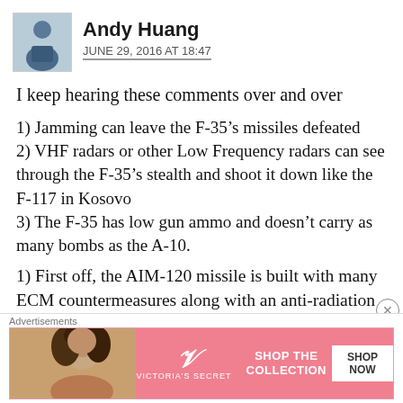Andy Huang
JUNE 29, 2016 AT 18:47
I keep hearing these comments over and over
1) Jamming can leave the F-35’s missiles defeated
2) VHF radars or other Low Frequency radars can see through the F-35’s stealth and shoot it down like the F-117 in Kosovo
3) The F-35 has low gun ammo and doesn’t carry as many bombs as the A-10.
1) First off, the AIM-120 missile is built with many ECM countermeasures along with an anti-radiation countermeasure known as home-on-
[Figure (screenshot): Victoria's Secret advertisement banner: model photo on left, pink background with VS logo and 'SHOP THE COLLECTION' text, white 'SHOP NOW' button on right. Labeled 'Advertisements' above.]